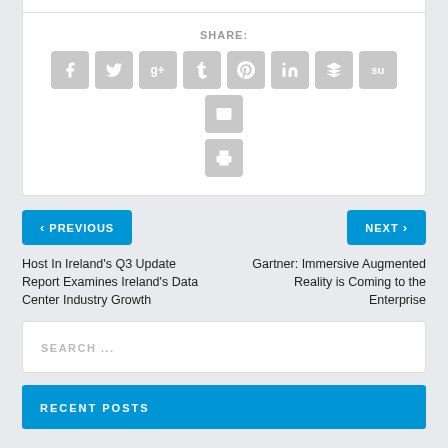SHARE:
[Figure (other): Social share icons: Facebook, Twitter, Google+, Tumblr, Pinterest, LinkedIn, Buffer, StumbleUpon, Email, Print]
< PREVIOUS
NEXT >
Host In Ireland's Q3 Update Report Examines Ireland's Data Center Industry Growth
Gartner: Immersive Augmented Reality is Coming to the Enterprise
SEARCH ...
RECENT POSTS